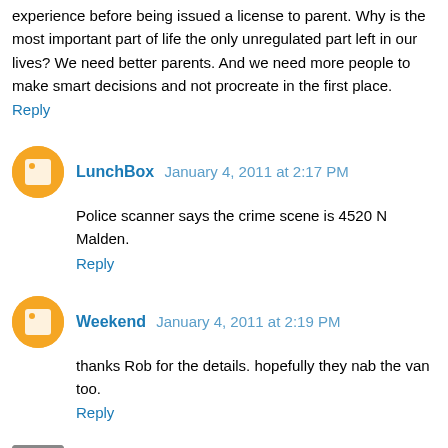experience before being issued a license to parent. Why is the most important part of life the only unregulated part left in our lives? We need better parents. And we need more people to make smart decisions and not procreate in the first place.
Reply
LunchBox  January 4, 2011 at 2:17 PM
Police scanner says the crime scene is 4520 N Malden.
Reply
Weekend  January 4, 2011 at 2:19 PM
thanks Rob for the details. hopefully they nab the van too.
Reply
pepperspraycommando  January 4, 2011 at 2:42 PM